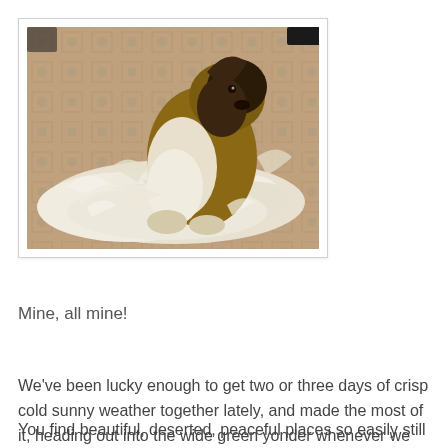[Figure (photo): A dog surrounded by a large pile of shed fur/wool on a patterned rug. The dog appears to be a long-haired breed with brown/black coloring, and there is a huge mound of white/cream colored fur clippings around it.]
Mine, all mine!
We've been lucky enough to get two or three days of crisp cold sunny weather together lately, and made the most of it, heading out into the wide green yonder whenever we were able.
You find beautiful, deserted, peaceful places so easily still in